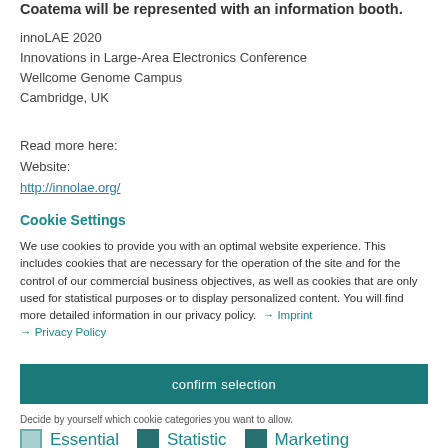Coatema will be represented with an information booth.
innoLAE 2020
Innovations in Large-Area Electronics Conference
Wellcome Genome Campus
Cambridge, UK
Read more here:
Website:
http://innolae.org/
Cookie Settings
We use cookies to provide you with an optimal website experience. This includes cookies that are necessary for the operation of the site and for the control of our commercial business objectives, as well as cookies that are only used for statistical purposes or to display personalized content. You will find more detailed information in our privacy policy. → Imprint
→ Privacy Policy
confirm selection
Decide by yourself which cookie categories you want to allow.
Essential  Statistic  Marketing